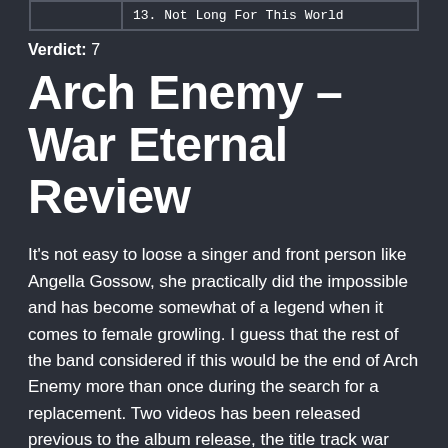|  | 13. Not Long For This World |
Verdict: 7
Arch Enemy – War Eternal Review
It's not easy to loose a singer and front person like Angella Gossow, she practically did the impossible and has become somewhat of a legend when it comes to female growling. I guess that the rest of the band considered if this would be the end of Arch Enemy more than once during the search for a replacement. Two videos has been released previous to the album release, the title track war eternal and You Will know My Name. The videos gives Alissa a possibility to be introduced without any contradictions, showcasing her as